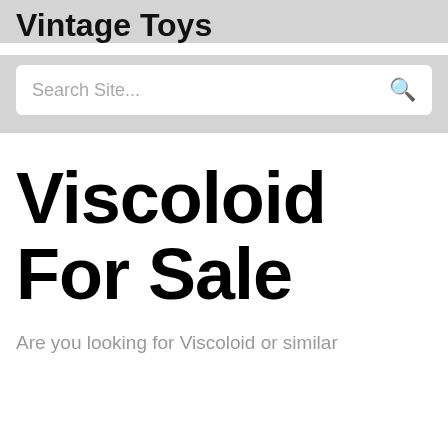Vintage Toys
[Figure (other): Search site input box with placeholder text 'Search Site...' and a magnifying glass icon]
Viscoloid For Sale
Are you looking for Viscoloid or similar